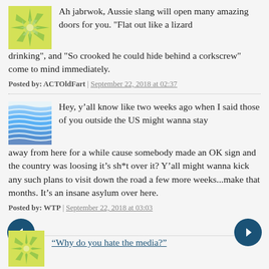Ah jabrwok, Aussie slang will open many amazing doors for you. "Flat out like a lizard drinking", and "So crooked he could hide behind a corkscrew" come to mind immediately.
Posted by: ACTOldFart | September 22, 2018 at 02:37
Hey, y’all know like two weeks ago when I said those of you outside the US might wanna stay away from here for a while cause somebody made an OK sign and the country was loosing it’s sh*t over it? Y’all might wanna kick any such plans to visit down the road a few more weeks...make that months. It’s an insane asylum over here.
Posted by: WTP | September 22, 2018 at 03:03
“Why do you hate the media?”